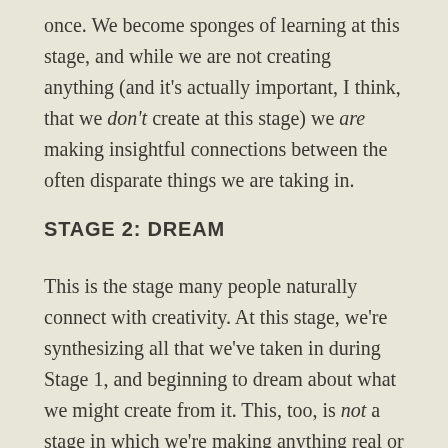once. We become sponges of learning at this stage, and while we are not creating anything (and it's actually important, I think, that we don't create at this stage) we are making insightful connections between the often disparate things we are taking in.
STAGE 2: DREAM
This is the stage many people naturally connect with creativity. At this stage, we're synthesizing all that we've taken in during Stage 1, and beginning to dream about what we might create from it. This, too, is not a stage in which we're making anything real or tangible; we're just exploring possibilities. There's a seduction that happens to